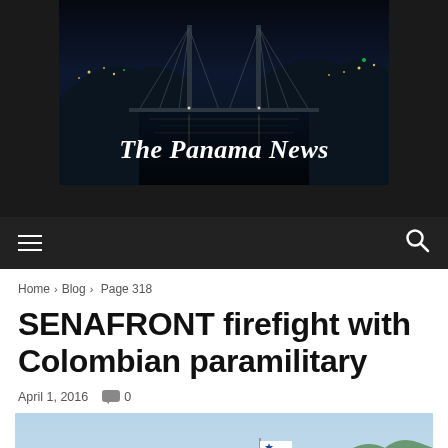[Figure (photo): The Panama News website header banner showing a night-time photo of a bridge over water with city lights, overlaid with text 'The Panama News' in italic serif font]
Navigation bar with hamburger menu and search icon
Home › Blog › Page 318
SENAFRONT firefight with Colombian paramilitary
April 1, 2016   💬 0
[Figure (photo): Photo of a rural border outpost building with a thatched roof, Panamanian flag flying on a pole, surrounded by trees and hills in the background]